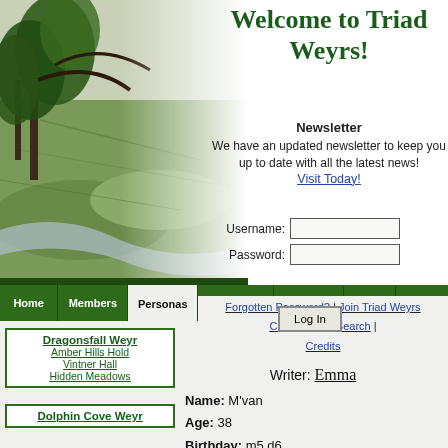[Figure (photo): Aerial landscape photo showing green fields, a river, trees in foreground, fading to white on right side]
Welcome to Triad Weyrs!
Newsletter
We have an updated newsletter to keep you up to date with all the latest news!
Visit Today!
Username: [input field]
Password: [input field]
Home | Members | Personas | Locations | Calendar | FAQ | Gallery
Persona Profile: M'van
Forgotten Password? | Join Triad Weyrs | Club Forum | Search | Credits
Writer: Emma
Dragonsfall Weyr
Amber Hills Hold
Vintner Hall
Hidden Meadows
Dolphin Cove Weyr
Name: M'van
Age: 38
Birthday: m5 d6
Rank: Weyrdragonhealer